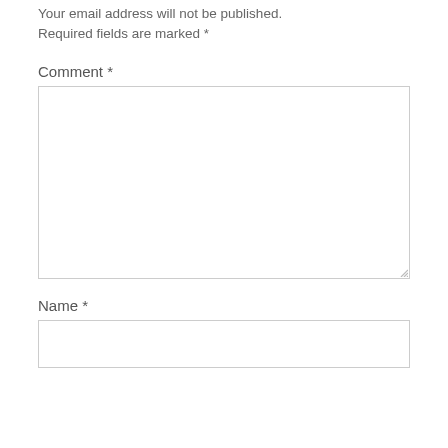Your email address will not be published. Required fields are marked *
Comment *
[Figure (screenshot): Large empty comment textarea input box with resize handle]
Name *
[Figure (screenshot): Single-line text input box for name]